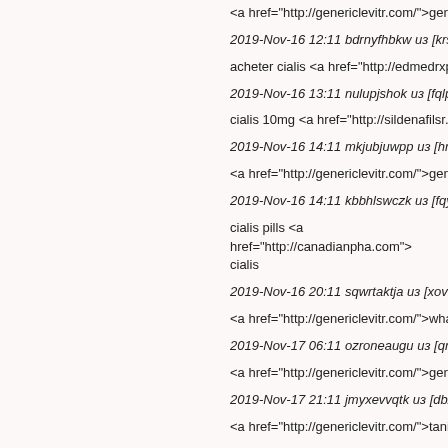<a href="http://genericlevitr.com/">generic lev
2019-Nov-16 12:11 bdrnyfhbkw из [krsankch
acheter cialis <a href="http://edmedrxp.com/"
2019-Nov-16 13:11 nulupjshok из [fqlpewmo
cialis 10mg <a href="http://sildenafilsr.com/">
2019-Nov-16 14:11 mkjubjuwpp из [hmvhfpjg
<a href="http://genericlevitr.com/">generic lev
2019-Nov-16 14:11 kbbhlswczk из [fqyhjpkg
cialis pills <a href="http://canadianpha.com">
cialis
2019-Nov-16 20:11 sqwrtaktja из [xovflwqr@
<a href="http://genericlevitr.com/">what does
2019-Nov-17 06:11 ozroneaugu из [qrnxvhau
<a href="http://genericlevitr.com/">generic lev
2019-Nov-17 21:11 jmyxevvqtk из [dbzrstqc@
<a href="http://genericlevitr.com/">tania levitr
2019-Nov-17 22:11 eusmqsxdnn из [ydikrsqx
<a href="http://genericlevitr.com/">when will g